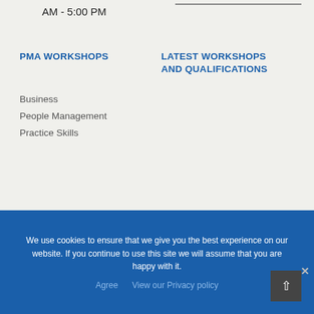AM - 5:00 PM
PMA WORKSHOPS
LATEST WORKSHOPS AND QUALIFICATIONS
Business
People Management
Practice Skills
We use cookies to ensure that we give you the best experience on our website. If you continue to use this site we will assume that you are happy with it.
Agree   View our Privacy policy